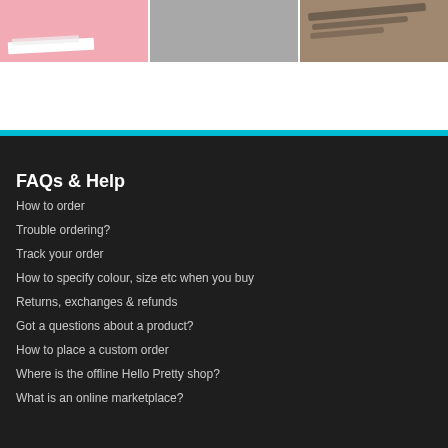[Figure (photo): Three product images: pink background with white card/label, gray background, and tan/brown background with cursive text]
FAQs & Help
How to order
Trouble ordering?
Track your order
How to specify colour, size etc when you buy
Returns, exchanges & refunds
Got a questions about a product?
How to place a custom order
Where is the offline Hello Pretty shop?
What is an online marketplace?